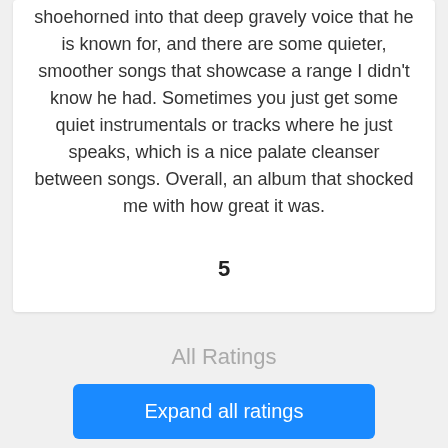shoehorned into that deep gravely voice that he is known for, and there are some quieter, smoother songs that showcase a range I didn't know he had. Sometimes you just get some quiet instrumentals or tracks where he just speaks, which is a nice palate cleanser between songs. Overall, an album that shocked me with how great it was.
5
All Ratings
Expand all ratings